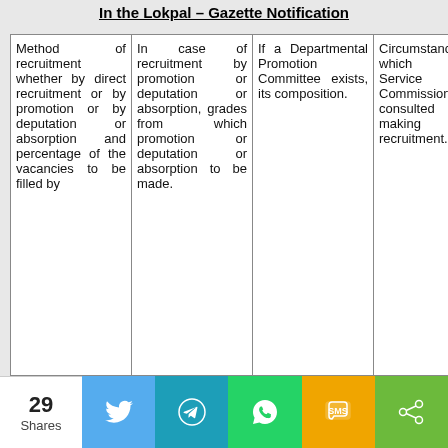In the Lokpal – Gazette Notification
| Method of recruitment whether by direct recruitment or by promotion or by deputation or absorption and percentage of the vacancies to be filled by | In case of recruitment by promotion or deputation or absorption, grades from which promotion or deputation or absorption to be made. | If a Departmental Promotion Committee exists, its composition. | Circumstances in which Public Service Commission be consulted in making recruitment. |
| --- | --- | --- | --- |
29 Shares